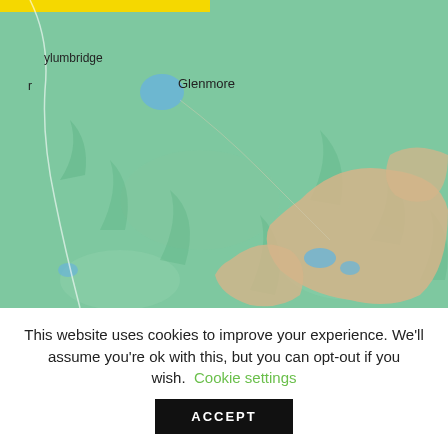[Figure (map): A topographic/road map showing a green terrain area with place names 'ylumbridge' and 'Glenmore', blue water bodies, and tan/beige elevation areas. A yellow banner is partially visible at the top left.]
This website uses cookies to improve your experience. We'll assume you're ok with this, but you can opt-out if you wish.  Cookie settings
ACCEPT